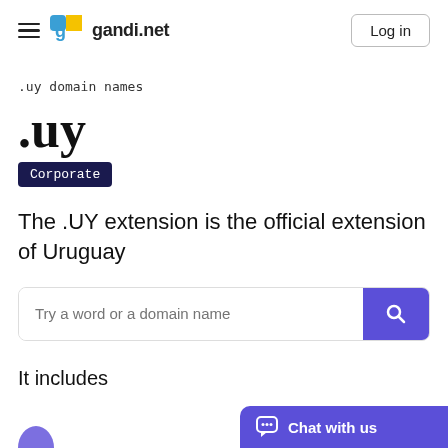gandi.net — Log in
.uy domain names
.uy
Corporate
The .UY extension is the official extension of Uruguay
Try a word or a domain name
It includes
Chat with us